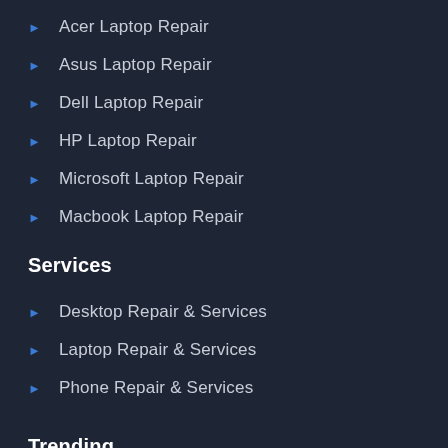Acer Laptop Repair
Asus Laptop Repair
Dell Laptop Repair
HP Laptop Repair
Microsoft Laptop Repair
Macbook Laptop Repair
Services
Desktop Repair & Services
Laptop Repair & Services
Phone Repair & Services
Trending
Best Laptop Repair Service Center In Kolkata